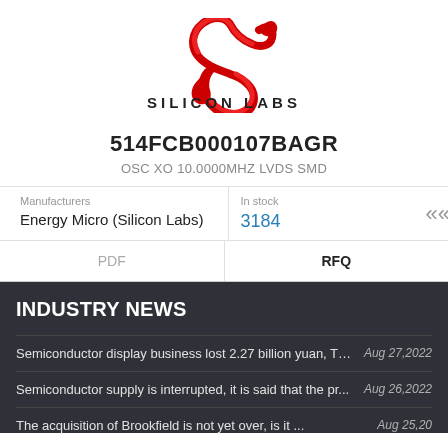[Figure (logo): Silicon Labs red swirl logo with SILICON LABS text below]
514FCB000107BAGR
OSC XO 10.0000MHZ LVDS SMD
| Manufacturers | In stock |
| --- | --- |
| Energy Micro (Silicon Labs) | 3184 |
PDF
RFQ
INDUSTRY NEWS
Semiconductor display business lost 2.27 billion yuan, TCL ...   Aug 27,2022
Semiconductor supply is interrupted, it is said that the pr...   Aug 26,2022
The acquisition of Brookfield is not yet over, is it ...